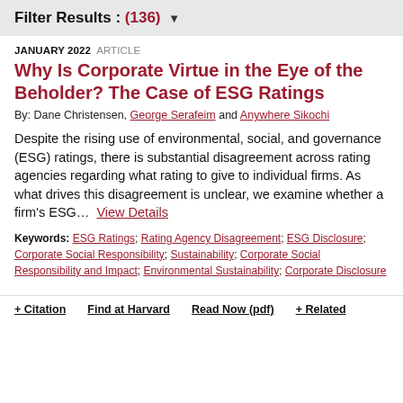Filter Results : (136) ▾
JANUARY 2022  ARTICLE
Why Is Corporate Virtue in the Eye of the Beholder? The Case of ESG Ratings
By: Dane Christensen, George Serafeim and Anywhere Sikochi
Despite the rising use of environmental, social, and governance (ESG) ratings, there is substantial disagreement across rating agencies regarding what rating to give to individual firms. As what drives this disagreement is unclear, we examine whether a firm's ESG...  View Details
Keywords: ESG Ratings; Rating Agency Disagreement; ESG Disclosure; Corporate Social Responsibility; Sustainability; Corporate Social Responsibility and Impact; Environmental Sustainability; Corporate Disclosure
+ Citation   Find at Harvard   Read Now (pdf)   + Related